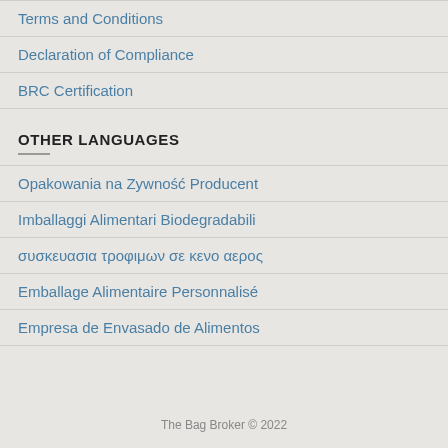Terms and Conditions
Declaration of Compliance
BRC Certification
OTHER LANGUAGES
Opakowania na Zywność Producent
Imballaggi Alimentari Biodegradabili
συσκευασια τροφιμων σε κενο αερος
Emballage Alimentaire Personnalisé
Empresa de Envasado de Alimentos
The Bag Broker © 2022